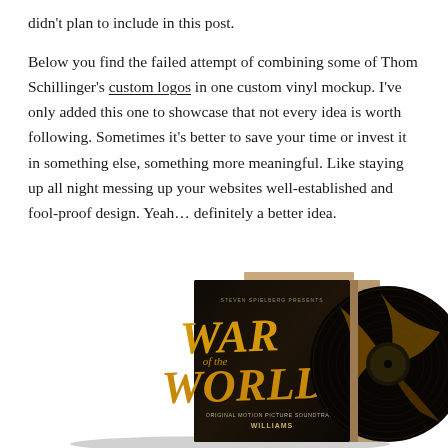didn't plan to include in this post.

Below you find the failed attempt of combining some of Thom Schillinger's custom logos in one custom vinyl mockup. I've only added this one to showcase that not every idea is worth following. Sometimes it's better to save your time or invest it in something else, something more meaningful. Like staying up all night messing up your websites well-established and fool-proof design. Yeah… definitely a better idea.
[Figure (photo): A vinyl record album mockup for 'War of the Worlds' original picture soundtrack by Williams, showing the album cover with dramatic gold/yellow lettering on dark background and a vinyl record beside it.]